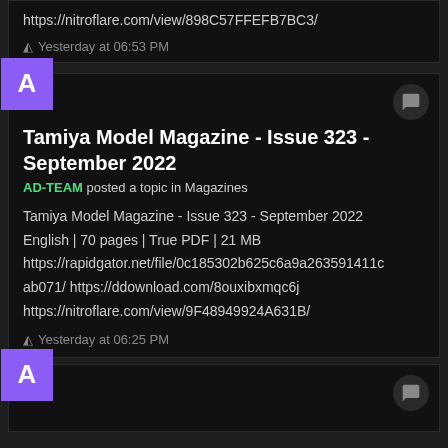https://nitroflare.com/view/898C57FFEFB7BC3/
Yesterday at 06:53 PM
Tamiya Model Magazine - Issue 323 - September 2022
AD-TEAM posted a topic in Magazines
Tamiya Model Magazine - Issue 323 - September 2022
English | 70 pages | True PDF | 21 MB
https://rapidgator.net/file/0c185302b625c6a9a263591411cab071/ https://ddownload.com/8ouxibxmqc6j https://nitroflare.com/view/9F48949924A631B/
Yesterday at 06:25 PM